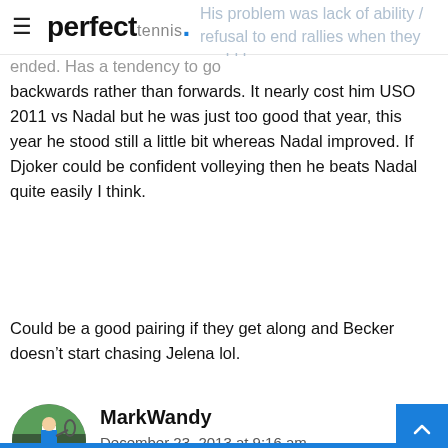perfect tennis.
His problem was lack of ability / refusal to end rallies when they could be ended. Has a tendency to go backwards rather than forwards. It nearly cost him USO 2011 vs Nadal but he was just too good that year, this year he stood still a little bit whereas Nadal improved. If Djoker could be confident volleying then he beats Nadal quite easily I think.
Could be a good pairing if they get along and Becker doesn't start chasing Jelena lol.
MarkWandy
December 23, 2013 at 9:16 am
“Could be a good pairing if they get along and Becker doesn’t start chasing